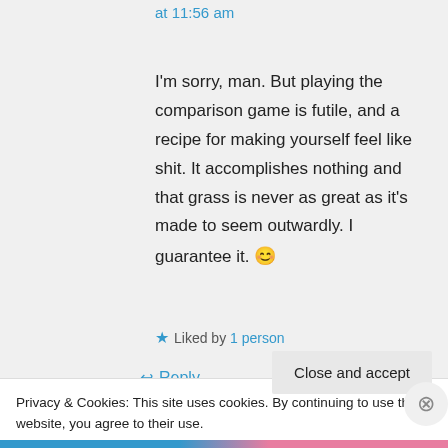at 11:56 am
I'm sorry, man. But playing the comparison game is futile, and a recipe for making yourself feel like shit. It accomplishes nothing and that grass is never as great as it's made to seem outwardly. I guarantee it. 😊
★ Liked by 1 person
↩ Reply
Privacy & Cookies: This site uses cookies. By continuing to use this website, you agree to their use.
To find out more, including how to control cookies, see here: Cookie Policy
Close and accept